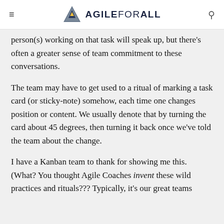AGILE FOR ALL
person(s) working on that task will speak up, but there's often a greater sense of team commitment to these conversations.
The team may have to get used to a ritual of marking a task card (or sticky-note) somehow, each time one changes position or content. We usually denote that by turning the card about 45 degrees, then turning it back once we've told the team about the change.
I have a Kanban team to thank for showing me this. (What? You thought Agile Coaches invent these wild practices and rituals??? Typically, it's our great teams